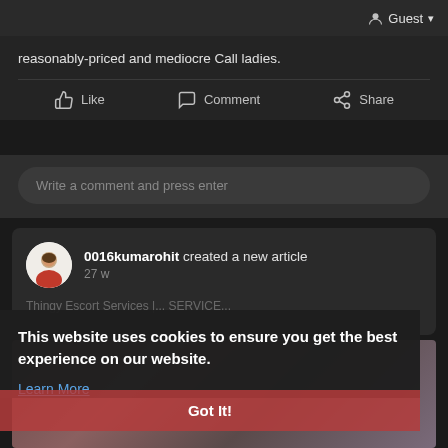Guest ▾
reasonably-priced and mediocre Call ladies.
Like   Comment   Share
Write a comment and press enter
0016kumarohit created a new article
27 w
This website uses cookies to ensure you get the best experience on our website. Learn More
Got It!